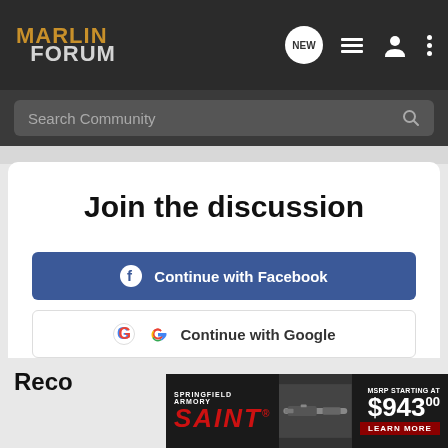MARLIN FORUM
Search Community
Join the discussion
Continue with Facebook
Continue with Google
or sign up with email
Reco...
[Figure (screenshot): Springfield Armory SAINT advertisement banner: AR-15 rifle image with MSRP starting at $943.00 and LEARN MORE button]